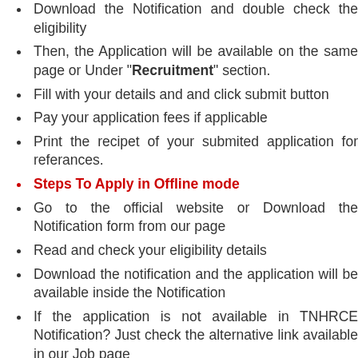Download the Notification and double check the eligibility
Then, the Application will be available on the same page or Under "Recruitment" section.
Fill with your details and and click submit button
Pay your application fees if applicable
Print the recipet of your submited application for referances.
Steps To Apply in Offline mode
Go to the official website or Download the Notification form from our page
Read and check your eligibility details
Download the notification and the application will be available inside the Notification
If the application is not available in TNHRCE Notification? Just check the alternative link available in our Job page
Fill with your details and Take a print out